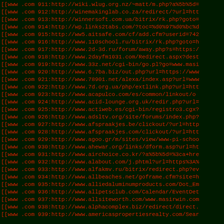List of URLs with redirect patterns, lines 911-939, shown in monospace terminal style with dark green background and red text.